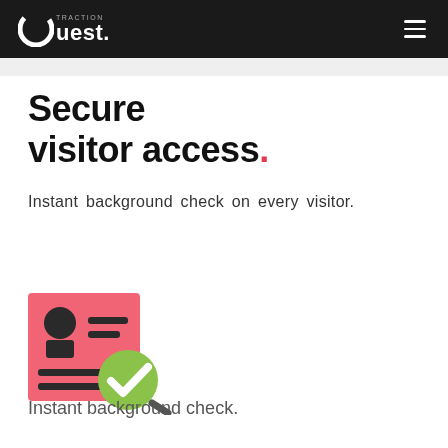Traction Guest - Secure visitor access
Secure visitor access.
Instant background check on every visitor.
[Figure (illustration): Icon of a pink/red ID card with a person silhouette and horizontal lines, overlaid with a green checkmark magnifying glass badge]
Instant background check.